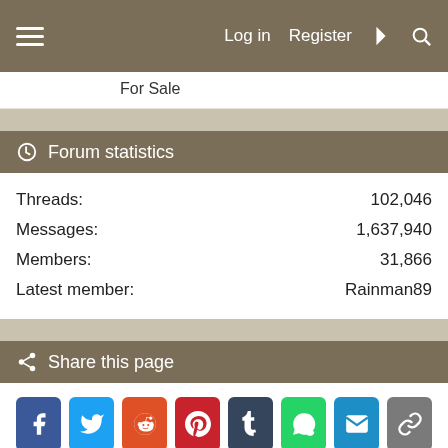Log in  Register
For Sale
Forum statistics
Threads: 102,046
Messages: 1,637,940
Members: 31,866
Latest member: Rainman89
Share this page
[Figure (infographic): Social sharing buttons: Facebook, Twitter, Reddit, Pinterest, Tumblr, WhatsApp, Email, Link]
[Figure (infographic): Amazon advertisement: Outdoor Gear & Apparel for every adventure. Shop Amazon.com/outdoors. amazon.com logo with tent, backpack, and Swiss Army knife images.]